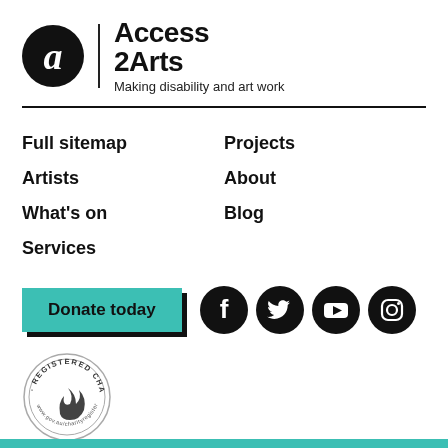[Figure (logo): Access 2Arts logo: black circle with a white stylized 'a', vertical divider line, then bold text 'Access 2Arts' and tagline 'Making disability and art work']
Full sitemap
Projects
Artists
About
What's on
Blog
Services
[Figure (other): Teal 'Donate today' button with black shadow offset, followed by four black circle social media icons: Facebook, Twitter, YouTube, Instagram]
[Figure (logo): Registered Charity circular seal/stamp logo]